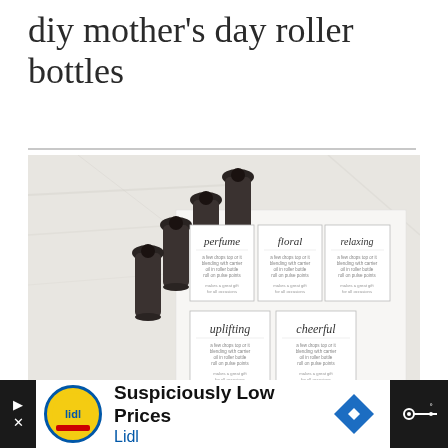diy mother's day roller bottles
[Figure (photo): Overhead flat-lay photo of several dark glass roller bottles arranged diagonally on a white marble surface, alongside a white sheet of paper printed with five label cards reading 'perfume', 'floral', 'relaxing', 'uplifting', and 'cheerful', each with ingredient text below.]
[Figure (other): Advertisement banner with dark background. Left side shows Lidl logo (yellow circle with red and blue elements). Text reads 'Suspiciously Low Prices' in bold black and 'Lidl' in blue. A blue navigation/diamond arrow icon is shown. Right side shows a dark panel with a radio/media icon and dots.]